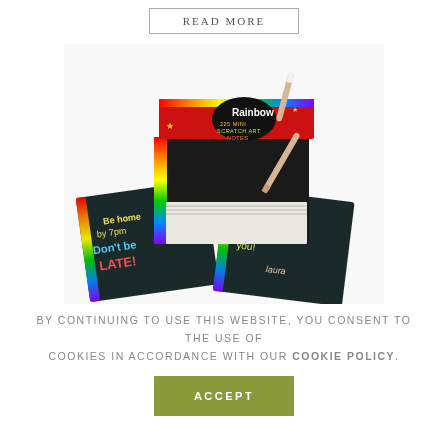Read more
[Figure (photo): Rainbow Scratch Art Mini Notes pad box with wooden stylus and sample scratch art notes showing colorful handwritten messages]
By continuing to use this website, you consent to the use of cookies in accordance with our Cookie Policy.
Accept